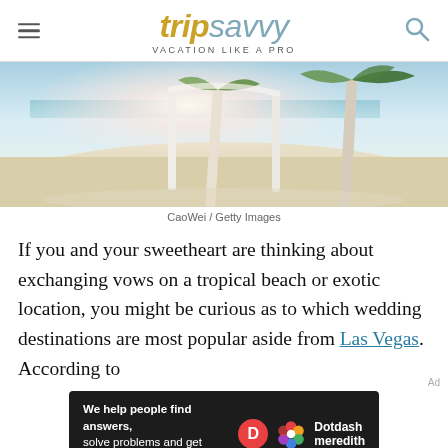trip savvy — VACATION LIKE A PRO
[Figure (photo): Beach scene with white sandy shore, palm trees, and a bright hazy background — possibly a wedding arch or canopy. CaoWei / Getty Images.]
CaoWei / Getty Images
If you and your sweetheart are thinking about exchanging vows on a tropical beach or exotic location, you might be curious as to which wedding destinations are most popular aside from Las Vegas. According to
[Figure (infographic): Dotdash Meredith ad bar: 'We help people find answers, solve problems and get inspired.' with Dotdash Meredith logo.]